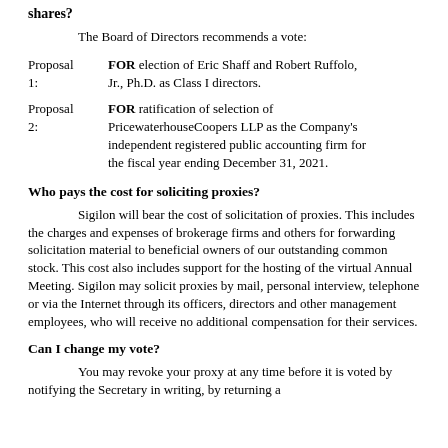shares?
The Board of Directors recommends a vote:
Proposal 1: FOR election of Eric Shaff and Robert Ruffolo, Jr., Ph.D. as Class I directors.
Proposal 2: FOR ratification of selection of PricewaterhouseCoopers LLP as the Company's independent registered public accounting firm for the fiscal year ending December 31, 2021.
Who pays the cost for soliciting proxies?
Sigilon will bear the cost of solicitation of proxies. This includes the charges and expenses of brokerage firms and others for forwarding solicitation material to beneficial owners of our outstanding common stock. This cost also includes support for the hosting of the virtual Annual Meeting. Sigilon may solicit proxies by mail, personal interview, telephone or via the Internet through its officers, directors and other management employees, who will receive no additional compensation for their services.
Can I change my vote?
You may revoke your proxy at any time before it is voted by notifying the Secretary in writing, by returning a